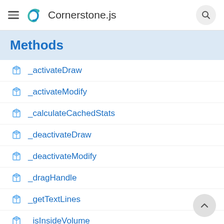Cornerstone.js
Methods
_activateDraw
_activateModify
_calculateCachedStats
_deactivateDraw
_deactivateModify
_dragHandle
_getTextLines
_isInsideVolume
_mouseDragDrawCallback
mouseDragModifyCallback